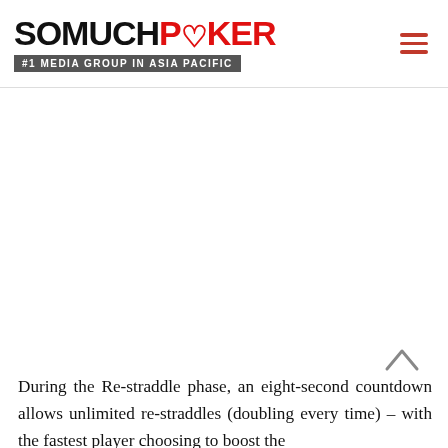SOMUCH POKER #1 MEDIA GROUP IN ASIA PACIFIC
During the Re-straddle phase, an eight-second countdown allows unlimited re-straddles (doubling every time) – with the fastest player choosing to boost the